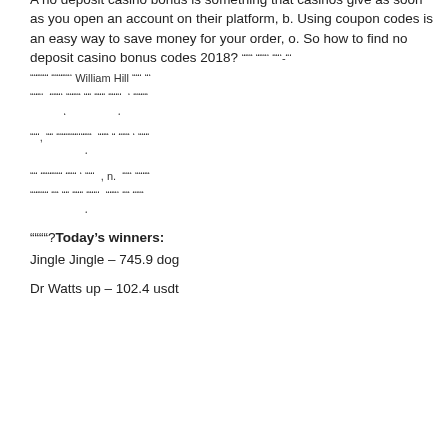bonus codes | No deposit bonus blog, y. What is no deposit casino? A no deposit casino bonus is something that casinos give as soon as you open an account on their platform, b. Using coupon codes is an easy way to save money for your order, o. So how to find no deposit casino bonus codes 2018? """ """' ""'‐"' """"" """""' William Hill ""' "' """'  """' """" "" """ """'  ' """" '  """' "" """""""'"""  """ " """ ' """ "" """"""' """' ' '  , n.  ""' """" """"" "" "" """ """'  """' "" """'?
Today's winners:
Jingle Jingle – 745.9 dog
Dr Watts up – 102.4 usdt